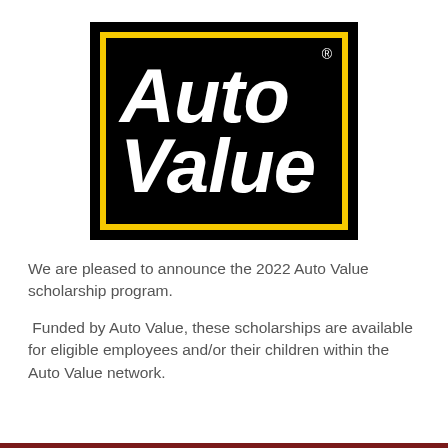[Figure (logo): Auto Value logo: black rectangle with yellow border, white bold italic text reading 'Auto Value' with registered trademark symbol]
We are pleased to announce the 2022 Auto Value scholarship program.
Funded by Auto Value, these scholarships are available for eligible employees and/or their children within the Auto Value network.